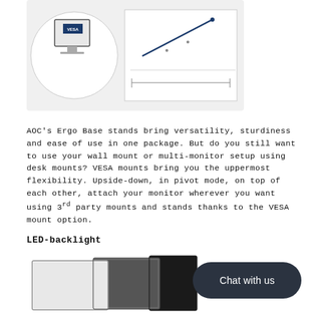[Figure (schematic): Diagram showing VESA mount concept with monitor illustration and technical drawing on white/light gray background]
AOC's Ergo Base stands bring versatility, sturdiness and ease of use in one package. But do you still want to use your wall mount or multi-monitor setup using desk mounts? VESA mounts bring you the uppermost flexibility. Upside-down, in pivot mode, on top of each other, attach your monitor wherever you want using 3rd party mounts and stands thanks to the VESA mount option.
LED-backlight
[Figure (illustration): Illustration of LED-backlit monitor panels shown at an angle, depicting white, gray and black layers]
[Figure (other): Chat with us button - dark rounded rectangle button with white text]